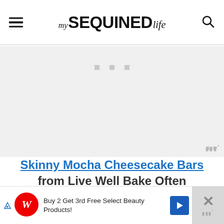my SEQUINED life
[Figure (screenshot): Gray placeholder ad area with three small gray squares centered near top]
Skinny Mocha Cheesecake Bars from Live Well Bake Often
[Figure (screenshot): Walgreens advertisement banner: Buy 2 Get 3rd Free Select Beauty Products!]